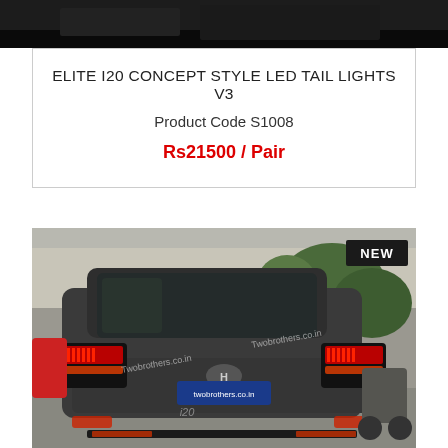[Figure (photo): Top strip showing a dark vehicle/tail light close-up image]
ELITE I20 CONCEPT STYLE LED TAIL LIGHTS V3
Product Code S1008
Rs21500 / Pair
[Figure (photo): Rear view of a grey Hyundai i20 hatchback with LED tail lights installed, parked on a street. 'twobrothers.co.in' watermark visible. 'NEW' badge in top right corner of photo.]